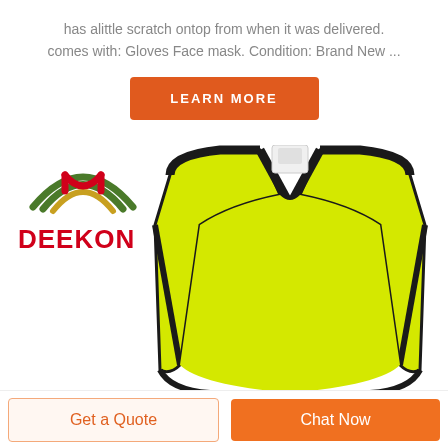has alittle scratch ontop from when it was delivered. comes with: Gloves Face mask. Condition: Brand New ...
LEARN MORE
[Figure (photo): DEEKON brand logo with arcs above text, and a yellow hi-vis safety vest with black trim on a white background]
Get a Quote
Chat Now